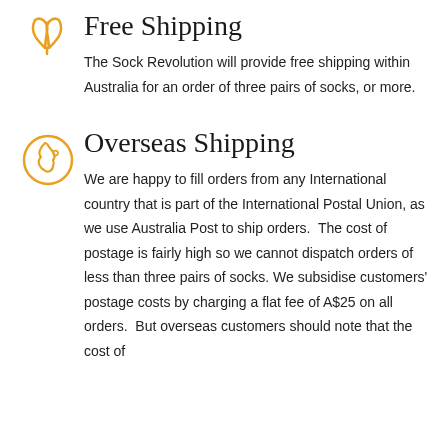[Figure (illustration): Orange leaf/plant icon representing free shipping]
Free Shipping
The Sock Revolution will provide free shipping within Australia for an order of three pairs of socks, or more.
[Figure (illustration): Orange globe/earth icon representing overseas shipping]
Overseas Shipping
We are happy to fill orders from any International country that is part of the International Postal Union, as we use Australia Post to ship orders.  The cost of postage is fairly high so we cannot dispatch orders of less than three pairs of socks. We subsidise customers' postage costs by charging a flat fee of A$25 on all orders.  But overseas customers should note that the cost of